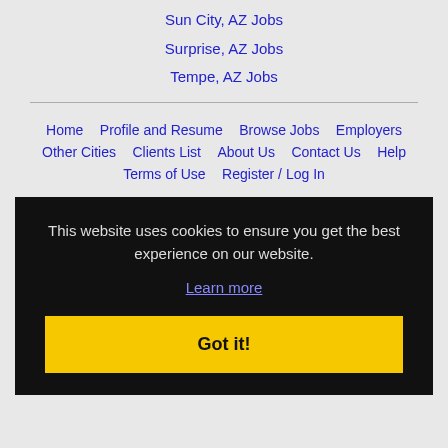Sun City, AZ Jobs
Surprise, AZ Jobs
Tempe, AZ Jobs
Home | Profile and Resume | Browse Jobs | Employers | Other Cities | Clients List | About Us | Contact Us | Help | Terms of Use | Register / Log In
This website uses cookies to ensure you get the best experience on our website. Learn more
Got it!